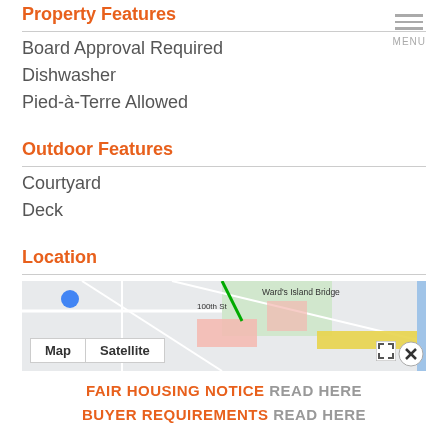Property Features
Board Approval Required
Dishwasher
Pied-à-Terre Allowed
Outdoor Features
Courtyard
Deck
Location
[Figure (map): Google Map showing Ward's Island Bridge area with 100th St label, Map/Satellite toggle buttons, and expand/close controls]
FAIR HOUSING NOTICE READ HERE BUYER REQUIREMENTS READ HERE